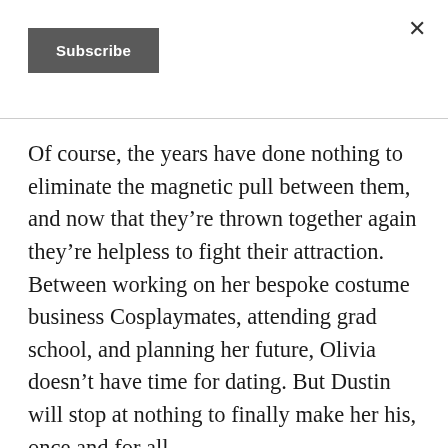×
Subscribe
Of course, the years have done nothing to eliminate the magnetic pull between them, and now that they're thrown together again they're helpless to fight their attraction. Between working on her bespoke costume business Cosplaymates, attending grad school, and planning her future, Olivia doesn't have time for dating. But Dustin will stop at nothing to finally make her his, once and for all.
Words in red (partially visible at bottom)